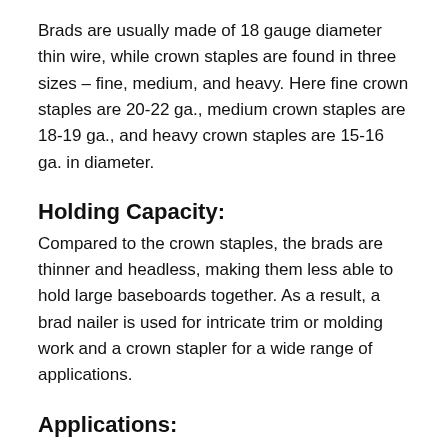Brads are usually made of 18 gauge diameter thin wire, while crown staples are found in three sizes – fine, medium, and heavy. Here fine crown staples are 20-22 ga., medium crown staples are 18-19 ga., and heavy crown staples are 15-16 ga. in diameter.
Holding Capacity:
Compared to the crown staples, the brads are thinner and headless, making them less able to hold large baseboards together. As a result, a brad nailer is used for intricate trim or molding work and a crown stapler for a wide range of applications.
Applications:
Although there is some overlap between the two,